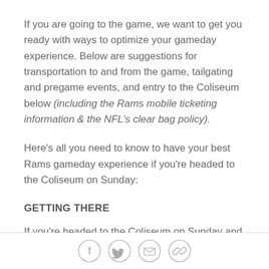If you are going to the game, we want to get you ready with ways to optimize your gameday experience. Below are suggestions for transportation to and from the game, tailgating and pregame events, and entry to the Coliseum below (including the Rams mobile ticketing information & the NFL's clear bag policy).
Here's all you need to know to have your best Rams gameday experience if you're headed to the Coliseum on Sunday:
GETTING THERE
If you're headed to the Coliseum on Sunday and don't already have a parking pass, we encourage you to take the Metro to the Coliseum. Parking is very limited and
Social share icons: Facebook, Twitter, Email, Link